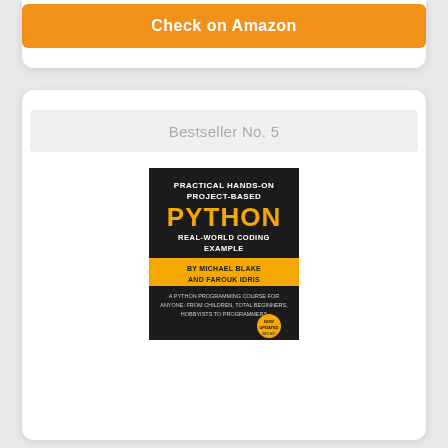Check on Amazon
Bestseller No. 5
[Figure (illustration): Book cover: Practical Hands-On Project-Based Python Real-World Coding Example by Michael Blake and Farouk Idris. Black background with yellow accent bar, white bold title text, and subtitle 'A Python Programming Course for Anyone: From Children, Total Beginners, Hobbyists to Programmers'.]